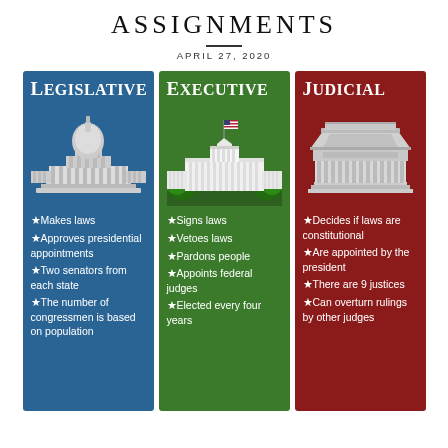ASSIGNMENTS
APRIL 27, 2020
[Figure (infographic): Three-column infographic showing the three branches of US government: Legislative (blue, US Capitol), Executive (green, White House), Judicial (red, Supreme Court). Each column lists key functions with star bullets.]
Makes laws
Approves presidential appointments
Two senators from each state
The number of congressmen is based on population
Signs laws
Vetoes laws
Pardons people
Appoints federal judges
Elected every four years
Decides if laws are constitutional
Are appointed by the president
There are 9 justices
Can overturn rulings by other judges